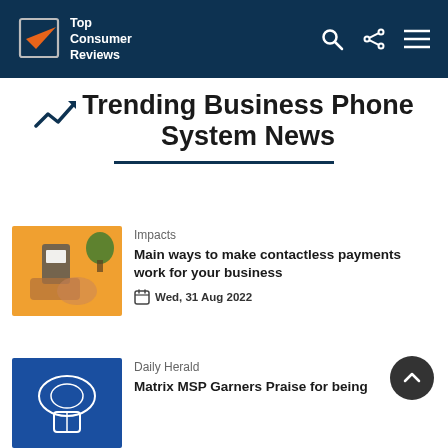Top Consumer Reviews
Trending Business Phone System News
[Figure (photo): Hand holding a smartphone near a card reader on an orange background with a small plant]
Impacts
Main ways to make contactless payments work for your business
Wed, 31 Aug 2022
[Figure (photo): Blue background with cloud and phone icon]
Daily Herald
Matrix MSP Garners Praise for being